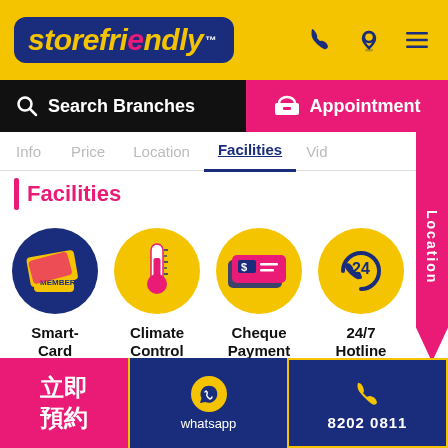[Figure (logo): Storefriendly logo on yellow header bar with phone, location pin, and hamburger menu icons]
[Figure (screenshot): Search Branches button (black) and Appointment button (pink)]
[Figure (screenshot): Navigation tabs: Info, Price, Location, Facilities (active/underlined), Vid... and Location pink sidebar]
Facilities
[Figure (infographic): Four facility icons: Smart-Card (blue circle with card), Climate Control (yellow circle with thermometer), Cheque Payment (yellow circle with cheque), 24/7 Hotline (yellow circle with phone and 24)]
[Figure (screenshot): Footer with pink 立即預約 button, WhatsApp icon with 'whatsapp' label, and phone number 8202 0811]